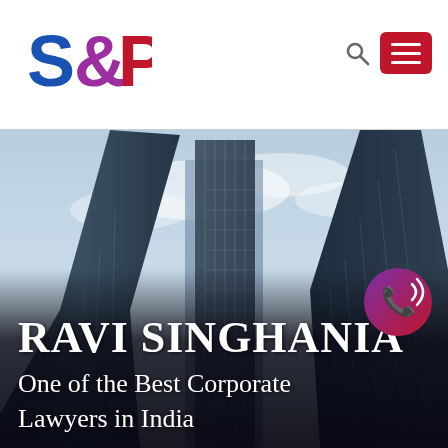[Figure (logo): S&P law firm logo with blue S, purple ampersand, and red P letters]
[Figure (photo): Low-angle photograph of tall modern glass skyscrapers against a blue-grey cloudy sky]
RAVI SINGHANIA
One of the Best Corporate Lawyers in India